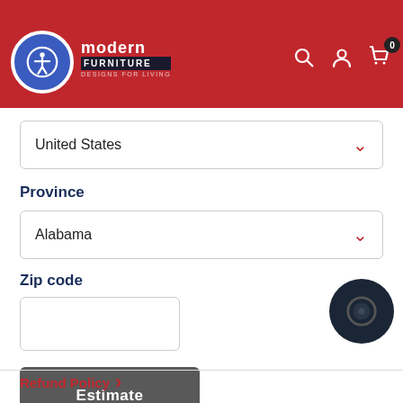Modern Furniture — header with accessibility button, search, account, cart (0)
United States
Province
Alabama
Zip code
Estimate
Refund Policy